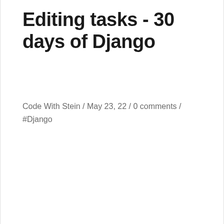Editing tasks - 30 days of Django
Code With Stein / May 23, 22 / 0 comments / #Django